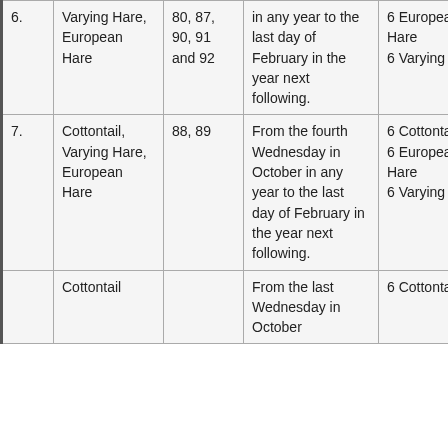| 6. | Varying Hare, European Hare | 80, 87, 90, 91 and 92 | in any year to the last day of February in the year next following. | 6 European Hare
6 Varying Hare |  |
| 7. | Cottontail, Varying Hare, European Hare | 88, 89 | From the fourth Wednesday in October in any year to the last day of February in the year next following. | 6 Cottontail
6 European Hare
6 Varying Hare |  |
|  | Cottontail |  | From the last Wednesday in October | 6 Cottontail |  |